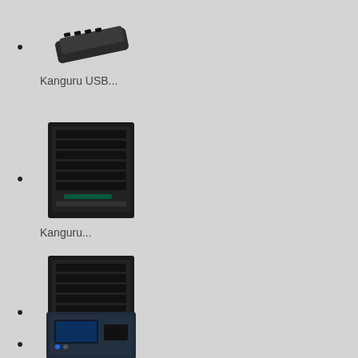Kanguru USB...
Kanguru...
Kanguru...